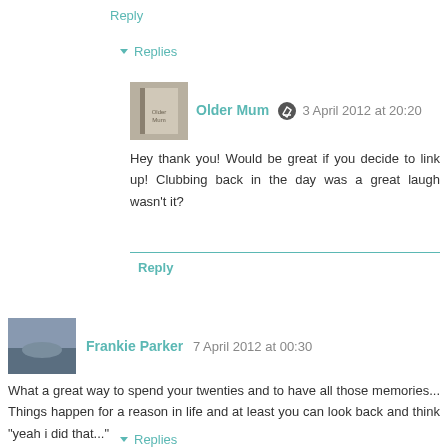Reply
▾ Replies
Older Mum  3 April 2012 at 20:20
Hey thank you! Would be great if you decide to link up! Clubbing back in the day was a great laugh wasn't it?
Reply
Frankie Parker  7 April 2012 at 00:30
What a great way to spend your twenties and to have all those memories... Things happen for a reason in life and at least you can look back and think "yeah i did that..."
Reply
▾ Replies
Older Mum  7 April 2012 at 19:07